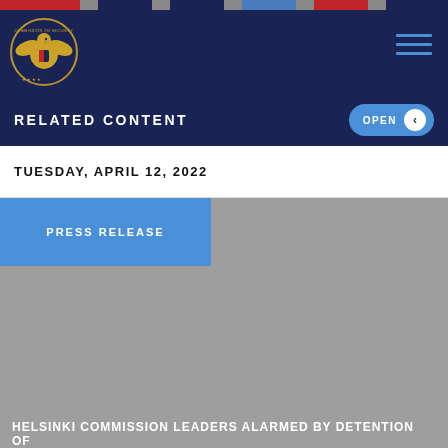[Figure (other): Decorative flag-colored horizontal bar at top of page]
[Figure (logo): Commission on Security and Cooperation in Europe (Helsinki Commission) seal/logo in circular gold on dark navy background]
RELATED CONTENT
OPEN
TUESDAY, APRIL 12, 2022
PRESS RELEASE
HELSINKI COMMISSION LEADERS ALARMED BY DETENTION OF